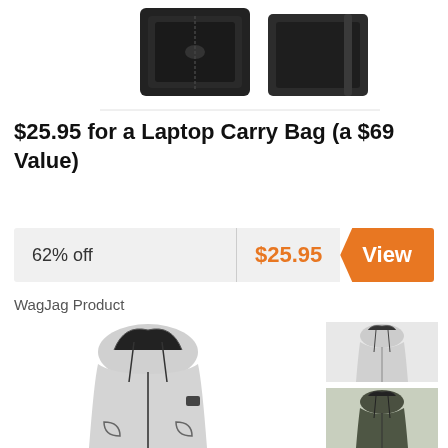[Figure (photo): Two black laptop carry bags/sleeves shown from different angles against white background]
$25.95 for a Laptop Carry Bag (a $69 Value)
[Figure (infographic): Deal bar showing 62% off, price $25.95, and orange View button]
WagJag Product
[Figure (photo): Light grey hooded zip-up jacket worn by male model, with two smaller thumbnail images of the same jacket in light grey and dark olive colors]